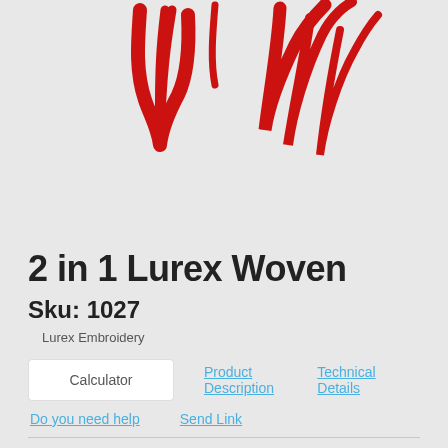[Figure (logo): Red abstract V/W logo mark, hand-drawn style brushstroke letters on light gray background]
2 in 1 Lurex Woven
Sku: 1027
Lurex Embroidery
Calculator | Product Description | Technical Details
Do you need help    Send Link
Fields marked with an asterisk are mandatory and must be filled
Metal Hook